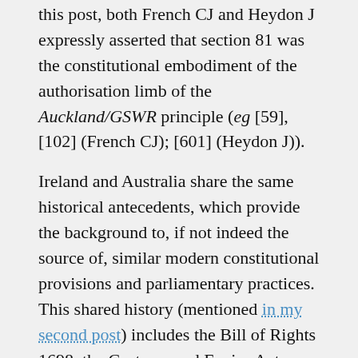this post, both French CJ and Heydon J expressly asserted that section 81 was the constitutional embodiment of the authorisation limb of the Auckland/GSWR principle (eg [59], [102] (French CJ); [601] (Heydon J)).
Ireland and Australia share the same historical antecedents, which provide the background to, if not indeed the source of, similar modern constitutional provisions and parliamentary practices. This shared history (mentioned in my second post) includes the Bill of Rights 1698, the Customs and Excise Act, 1787, and twothe Exchequer and Audit Departments Act 1866, to which reference is repeatedly made in the above Australian cases. The Bill of Rights is still in force in Ireland (where it is dated 1688); the Consolidated Fund first established by the 1787 Act now has constitutional status by virtue of Article 11 (the